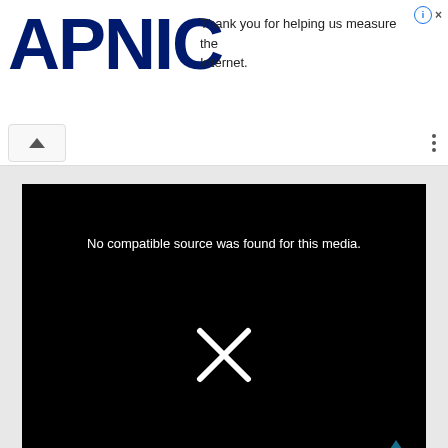[Figure (screenshot): APNIC logo in large dark blue bold letters on white background, with ad text 'Thank you for helping us measure the Internet.' and info/close icons top right]
[Figure (screenshot): Browser toolbar with upward chevron button and three-dot menu icon]
[Figure (screenshot): Black video player box with white text 'No compatible source was found for this media.' and a large white X mark in the center, with a teal chevron arrow at bottom right]